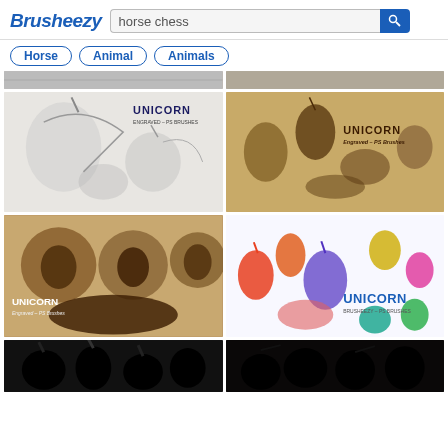[Figure (screenshot): Brusheezy website screenshot showing search results for 'horse chess' with logo, search bar, tag buttons (Horse, Animal, Animals), and a grid of unicorn brush pack thumbnail images]
Brusheezy  horse chess
Horse
Animal
Animals
[Figure (photo): Unicorn PS brushes pack - black and white engraved unicorn illustrations on white background]
[Figure (photo): Unicorn Engraved PS Brushes pack - vintage engraved unicorn and horse illustrations on tan/gold background]
[Figure (photo): Unicorn Engraved PS Brushes pack - sepia tone circular vignette unicorn illustrations]
[Figure (photo): Colorful unicorn silhouettes in rainbow colors on white background]
[Figure (photo): Black silhouette unicorn/horse illustrations - partial bottom strip]
[Figure (photo): Black silhouette unicorn/knight illustrations - partial bottom strip]